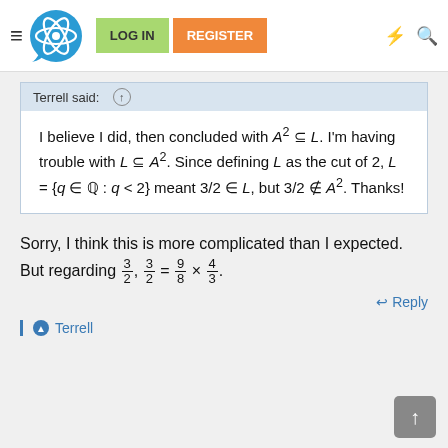LOG IN  REGISTER
Terrell said: ↑
Sorry, I think this is more complicated than I expected. But regarding 3/2, 3/2 = 9/8 × 4/3.
↩ Reply
Terrell